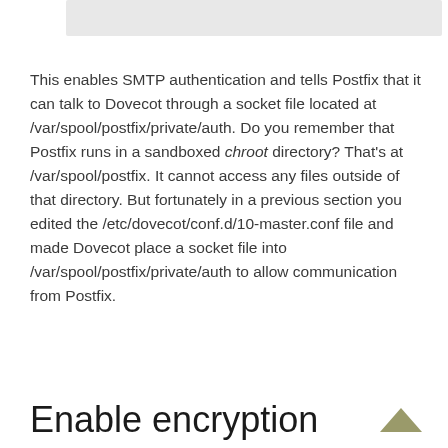[Figure (other): Gray rectangular image bar at top of page]
This enables SMTP authentication and tells Postfix that it can talk to Dovecot through a socket file located at /var/spool/postfix/private/auth. Do you remember that Postfix runs in a sandboxed chroot directory? That's at /var/spool/postfix. It cannot access any files outside of that directory. But fortunately in a previous section you edited the /etc/dovecot/conf.d/10-master.conf file and made Dovecot place a socket file into /var/spool/postfix/private/auth to allow communication from Postfix.
Enable encryption